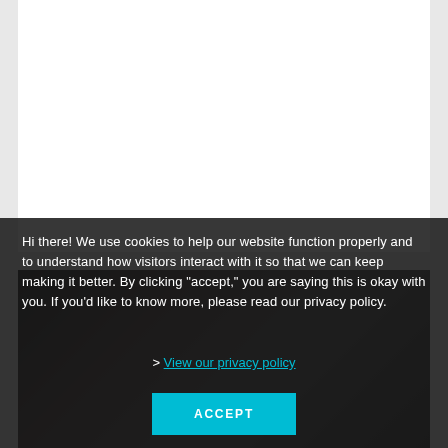[Figure (photo): White content area at top of page, then a photograph of a person (presenter) standing near a whiteboard/flipchart in a dark room, partially obscured by a cookie consent overlay]
Hi there! We use cookies to help our website function properly and to understand how visitors interact with it so that we can keep making it better. By clicking 'accept,' you are saying this is okay with you. If you'd like to know more, please read our privacy policy.
> View our privacy policy
ACCEPT